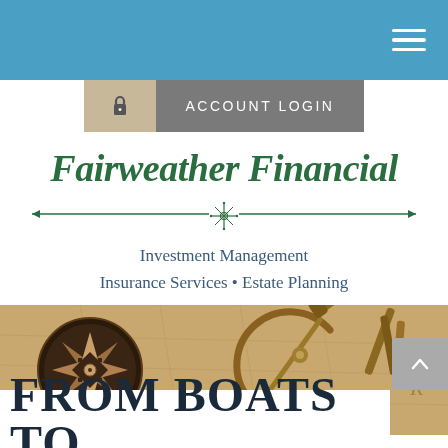Navigation bar with hamburger menu
ACCOUNT LOGIN
Fairweather Financial
Investment Management
Insurance Services • Estate Planning
[Figure (photo): Vintage navigation instruments including a compass and sextant on an old map]
FROM BOATS TO